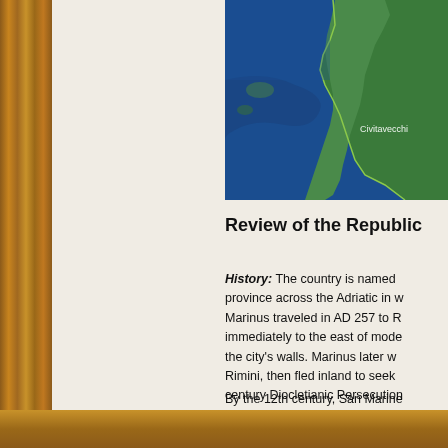[Figure (map): Satellite/aerial map showing the Italian coastline along the Adriatic/Tyrrhenian Sea, with the label 'Civitavecchia' visible on the coast. Green terrain and dark blue sea visible.]
Review of the Republic
History: The country is named province across the Adriatic in w Marinus traveled in AD 257 to R immediately to the east of mode the city's walls. Marinus later w Rimini, then fled inland to seek century Diocletianic Persecution independent monastic commun the official year of San Marino's
By the 12th century, San Marine